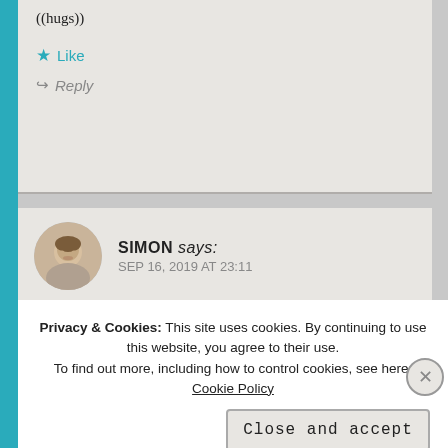((hugs))
★ Like
↪ Reply
SIMON says: SEP 16, 2019 AT 23:11
I know… Life is getting in the way. ((Hugs))
Privacy & Cookies: This site uses cookies. By continuing to use this website, you agree to their use. To find out more, including how to control cookies, see here: Cookie Policy
Close and accept